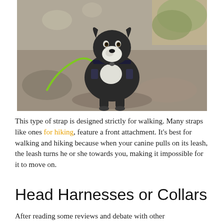[Figure (photo): A small black and white dog wearing a dark tactical harness and green leash, sitting on rocky ground outdoors.]
This type of strap is designed strictly for walking. Many straps like ones for hiking, feature a front attachment. It’s best for walking and hiking because when your canine pulls on its leash, the leash turns he or she towards you, making it impossible for it to move on.
Head Harnesses or Collars
After reading some reviews and debate with other